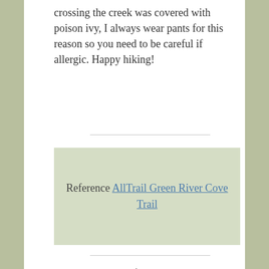crossing the creek was covered with poison ivy, I always wear pants for this reason so you need to be careful if allergic. Happy hiking!
Reference AllTrail Green River Cove Trail
.